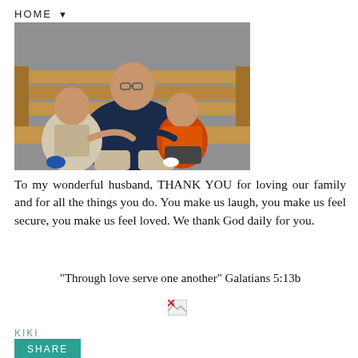HOME ▼
[Figure (photo): A man sitting on a wooden bench holding two young boys. The man wears glasses and a navy top. The older boy on the left wears a light-colored outfit, and the baby on the right wears an orange shirt.]
To my wonderful husband, THANK YOU for loving our family and for all the things you do. You make us laugh, you make us feel secure, you make us feel loved. We thank God daily for you.
"Through love serve one another" Galatians 5:13b
[Figure (illustration): Broken/missing image icon (small image placeholder)]
KIKI
SHARE